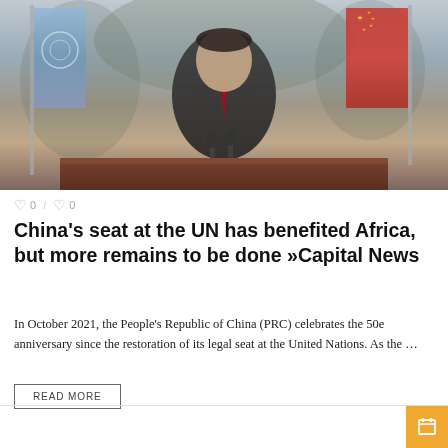[Figure (photo): A leader seated at a desk with a UN flag on the left and a Chinese flag on the right, speaking at a formal setting with microphones on the desk.]
0 / 0
China’s seat at the UN has benefited Africa, but more remains to be done »Capital News
In October 2021, the People’s Republic of China (PRC) celebrates the 50e anniversary since the restoration of its legal seat at the United Nations. As the …
READ MORE